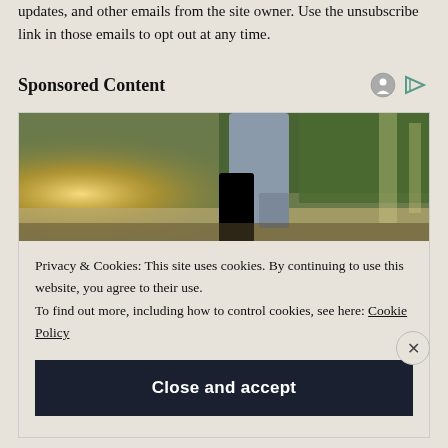updates, and other emails from the site owner. Use the unsubscribe link in those emails to opt out at any time.
Sponsored Content
[Figure (photo): Person walking outdoors with trees and sunlight in background, low-angle shot showing legs and path]
Privacy & Cookies: This site uses cookies. By continuing to use this website, you agree to their use.
To find out more, including how to control cookies, see here: Cookie Policy
Close and accept